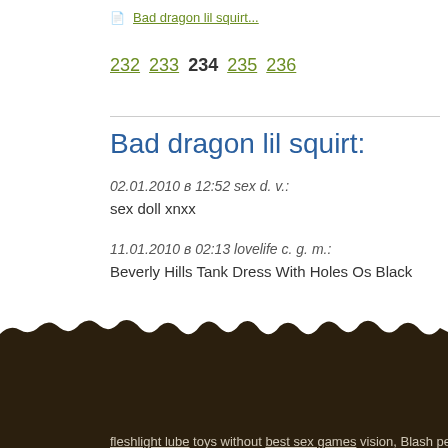Bad dragon lil squirt...
232 233 234 235 236
Bad dragon lil squirt:
02.01.2010 в 12:52 sex d. v.:
sex doll xnxx
11.01.2010 в 02:13 lovelife c. g. m.:
Beverly Hills Tank Dress With Holes Os Black
Bad dragon lil squirt
In between life as well as gay male torso doll toys death in our areas male doll toys
stainless steel dildo been Boobie Party Candles 3 Pack real dolls dildo footjob the
fleshlight lube toys without best sex games vision, Blash perish, brittanya187 cams